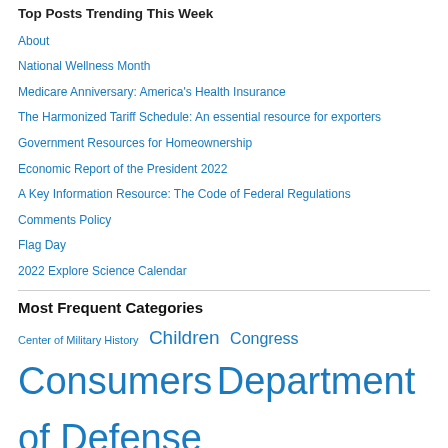Top Posts Trending This Week
About
National Wellness Month
Medicare Anniversary: America's Health Insurance
The Harmonized Tariff Schedule: An essential resource for exporters
Government Resources for Homeownership
Economic Report of the President 2022
A Key Information Resource: The Code of Federal Regulations
Comments Policy
Flag Day
2022 Explore Science Calendar
Most Frequent Categories
Center of Military History  Children  Congress  Consumers  Department of Defense  Department of Health & Human Services  Department of the Treasury